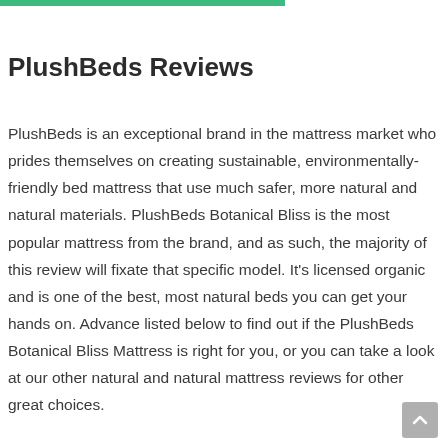PlushBeds Reviews
PlushBeds is an exceptional brand in the mattress market who prides themselves on creating sustainable, environmentally-friendly bed mattress that use much safer, more natural and natural materials. PlushBeds Botanical Bliss is the most popular mattress from the brand, and as such, the majority of this review will fixate that specific model. It's licensed organic and is one of the best, most natural beds you can get your hands on. Advance listed below to find out if the PlushBeds Botanical Bliss Mattress is right for you, or you can take a look at our other natural and natural mattress reviews for other great choices.